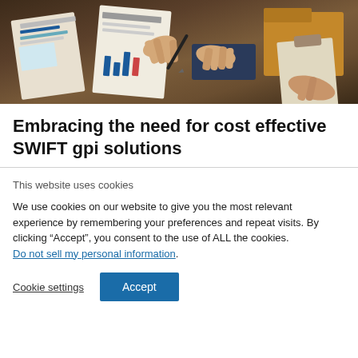[Figure (photo): Overhead view of people at a table with financial documents, papers with charts, pens, and folders visible. Hands of multiple people are seen reviewing documents on a dark wooden table.]
Embracing the need for cost effective SWIFT gpi solutions
This website uses cookies
We use cookies on our website to give you the most relevant experience by remembering your preferences and repeat visits. By clicking “Accept”, you consent to the use of ALL the cookies. Do not sell my personal information.
Cookie settings
Accept